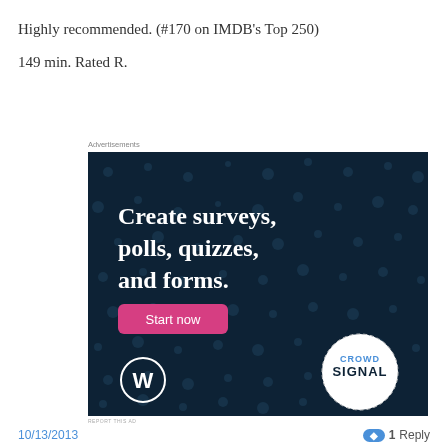Highly recommended. (#170 on IMDB's Top 250)

149 min. Rated R.
Advertisements
[Figure (photo): Advertisement for Crowdsignal (formerly Polldaddy) on a dark navy background with dot pattern. Text reads: 'Create surveys, polls, quizzes, and forms.' with a pink 'Start now' button, WordPress logo bottom left, and Crowdsignal circular logo bottom right.]
REPORT THIS AD
10/13/2013    1 Reply